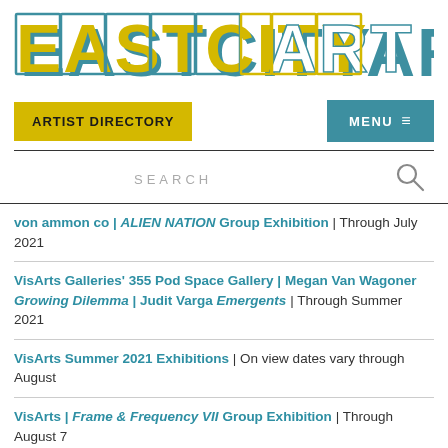[Figure (logo): EastCityArt logo in large retro block letters, yellow and teal with white shadows]
ARTIST DIRECTORY
MENU ≡
SEARCH
von ammon co | ALIEN NATION Group Exhibition | Through July 2021
VisArts Galleries' 355 Pod Space Gallery | Megan Van Wagoner Growing Dilemma | Judit Varga Emergents | Through Summer 2021
VisArts Summer 2021 Exhibitions | On view dates vary through August
VisArts | Frame & Frequency VII Group Exhibition | Through August 7